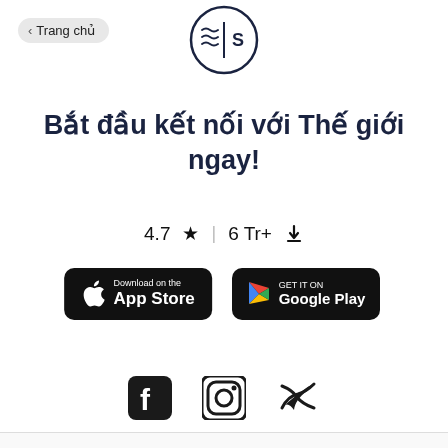< Trang chủ
[Figure (logo): App logo: circular icon with wavy lines and S symbol]
Bắt đầu kết nối với Thế giới ngay!
4.7 ★  6 Tr+ ⬇
[Figure (screenshot): Download on the App Store button (black rounded rectangle)]
[Figure (screenshot): GET IT ON Google Play button (black rounded rectangle)]
[Figure (infographic): Social media icons: Facebook, Instagram, Twitter]